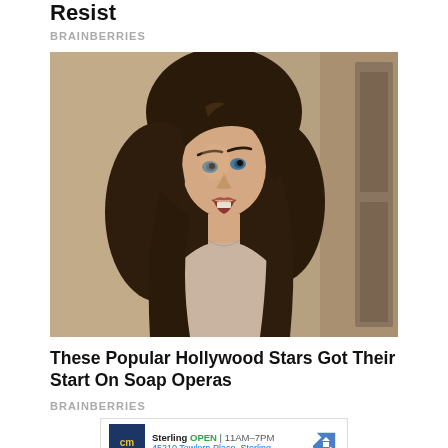Resist
BRAINBERRIES
[Figure (photo): Young woman with long dark wavy hair with bangs, wearing a light pink top, looking upward with mouth slightly open, photographed in a vintage style against a grey background.]
These Popular Hollywood Stars Got Their Start On Soap Operas
BRAINBERRIES
[Figure (infographic): Advertisement box showing CM logo (yellow letters on dark blue background), Sterling business listing showing OPEN 11AM-7PM, address 45210 Towlern Place, Sterling, with a blue diamond navigation arrow icon on the right. Below are small play and close (X) icons in blue.]